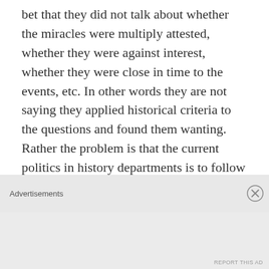bet that they did not talk about whether the miracles were multiply attested, whether they were against interest, whether they were close in time to the events, etc. In other words they are not saying they applied historical criteria to the questions and found them wanting. Rather the problem is that the current politics in history departments is to follow Hume's argument on miracles even though it is a philosophical argument not one based on historical criteria. So they would not still be in this field if they disagreed with these basic philosophical claims. And even if they
Advertisements